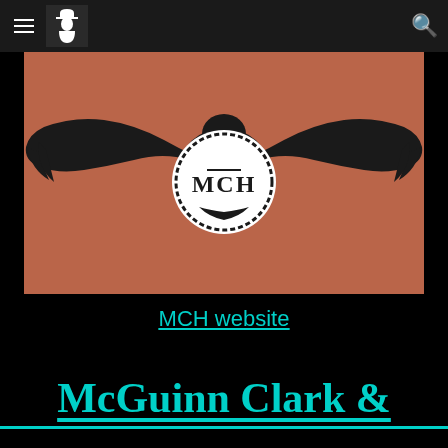Navigation bar with hamburger menu, logo, and search icon
[Figure (logo): MCH logo: a black eagle with spread wings on a terracotta/brown background, with a white circular badge in the center reading 'MCH' with a dashed border]
MCH website
McGuinn Clark &